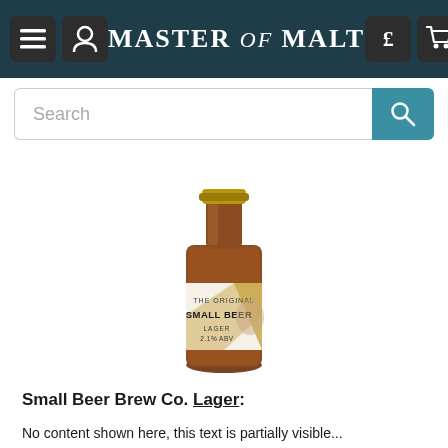MASTER of MALT
[Figure (photo): A brown glass bottle of Small Beer Brew Co. Lager, 2.1% ABV, with a white and gold geometric label showing THE ORIGINAL SMALL BEER LAGER 2.1% ABV and an engraved hand illustration, set against a white background.]
Small Beer Brew Co. Lager:
No content shown, partially visible at bottom.